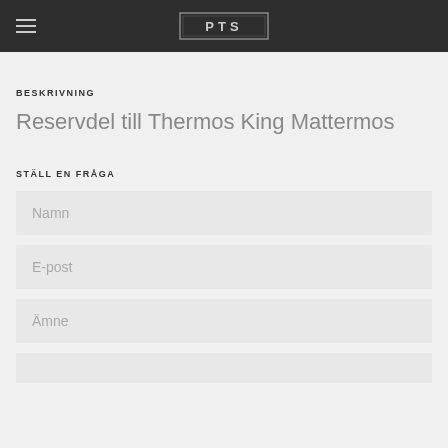PTS
BESKRIVNING
Reservdel till Thermos King Mattermos
STÄLL EN FRÅGA
Namn
E-post
Ämne